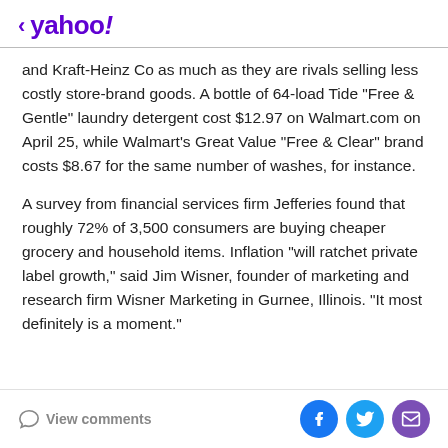< yahoo!
and Kraft-Heinz Co as much as they are rivals selling less costly store-brand goods. A bottle of 64-load Tide "Free & Gentle" laundry detergent cost $12.97 on Walmart.com on April 25, while Walmart's Great Value "Free & Clear" brand costs $8.67 for the same number of washes, for instance.
A survey from financial services firm Jefferies found that roughly 72% of 3,500 consumers are buying cheaper grocery and household items. Inflation "will ratchet private label growth," said Jim Wisner, founder of marketing and research firm Wisner Marketing in Gurnee, Illinois. "It most definitely is a moment."
View comments